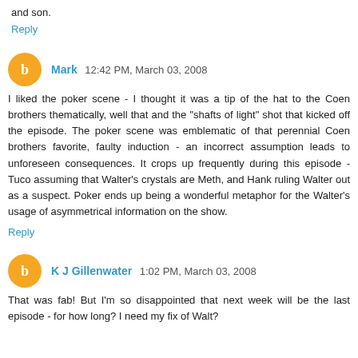and son.
Reply
Mark  12:42 PM, March 03, 2008
I liked the poker scene - I thought it was a tip of the hat to the Coen brothers thematically, well that and the "shafts of light" shot that kicked off the episode. The poker scene was emblematic of that perennial Coen brothers favorite, faulty induction - an incorrect assumption leads to unforeseen consequences. It crops up frequently during this episode - Tuco assuming that Walter's crystals are Meth, and Hank ruling Walter out as a suspect. Poker ends up being a wonderful metaphor for the Walter's usage of asymmetrical information on the show.
Reply
K J Gillenwater  1:02 PM, March 03, 2008
That was fab! But I'm so disappointed that next week will be the last episode - for how long? I need my fix of Walt?